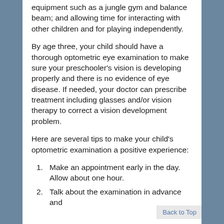equipment such as a jungle gym and balance beam; and allowing time for interacting with other children and for playing independently.
By age three, your child should have a thorough optometric eye examination to make sure your preschooler's vision is developing properly and there is no evidence of eye disease. If needed, your doctor can prescribe treatment including glasses and/or vision therapy to correct a vision development problem.
Here are several tips to make your child's optometric examination a positive experience:
Make an appointment early in the day. Allow about one hour.
Talk about the examination in advance and